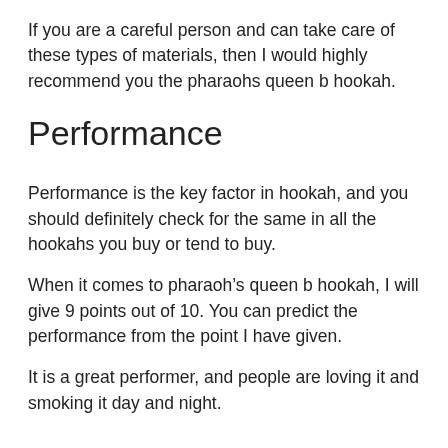If you are a careful person and can take care of these types of materials, then I would highly recommend you the pharaohs queen b hookah.
Performance
Performance is the key factor in hookah, and you should definitely check for the same in all the hookahs you buy or tend to buy.
When it comes to pharaoh’s queen b hookah, I will give 9 points out of 10. You can predict the performance from the point I have given.
It is a great performer, and people are loving it and smoking it day and night.